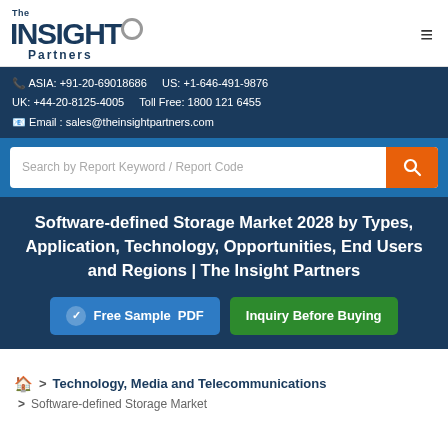The Insight Partners logo and navigation menu
ASIA: +91-20-69018686  US: +1-646-491-9876  UK: +44-20-8125-4005  Toll Free: 1800 121 6455  Email : sales@theinsightpartners.com
Search by Report Keyword / Report Code
Software-defined Storage Market 2028 by Types, Application, Technology, Opportunities, End Users and Regions | The Insight Partners
Free Sample PDF    Inquiry Before Buying
> Technology, Media and Telecommunications > Software-defined Storage Market